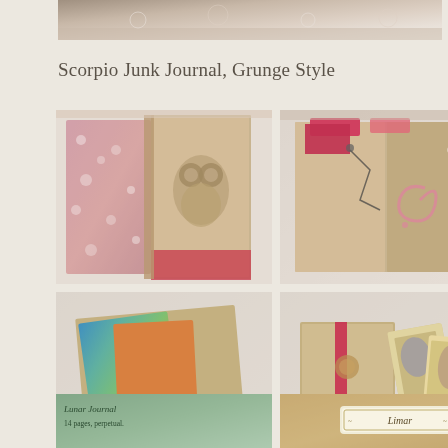[Figure (photo): Top cropped photo of lace fabric, cream and ivory tones]
Scorpio Junk Journal, Grunge Style
[Figure (photo): Junk journal with red floral fabric cover on left side and kraft paper page with owl illustration on right, laid on white lace fabric background]
[Figure (photo): Interior of junk journal showing kraft paper pages with red accents and spiral/swirl doodle, on lace fabric background]
[Figure (photo): Junk journal opened showing colorful holographic and orange tie-dye pages with small cards/tags, on white lace background]
[Figure (photo): Junk journal with tarot cards fanned out beside it, on white lace fabric background with red wax seal]
[Figure (photo): Bottom left partial photo showing green handwritten text 'Lunar Journal' and '14 pages, perpetual']
[Figure (photo): Bottom right partial photo showing light brown/tan decorative element with ornate label reading 'Lunar']